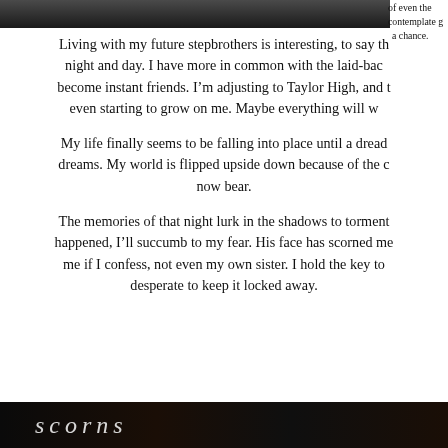[Figure (photo): Dark photograph at the top of the page, partially visible]
of even the contemplate g a chance.
Living with my future stepbrothers is interesting, to say th night and day. I have more in common with the laid-bac become instant friends. I'm adjusting to Taylor High, and t even starting to grow on me. Maybe everything will w
My life finally seems to be falling into place until a dread dreams. My world is flipped upside down because of the c now bear.
The memories of that night lurk in the shadows to torment happened, I'll succumb to my fear. His face has scorned me me if I confess, not even my own sister. I hold the key to desperate to keep it locked away.
[Figure (photo): Dark book cover photograph at the bottom of the page with stylized text overlay]